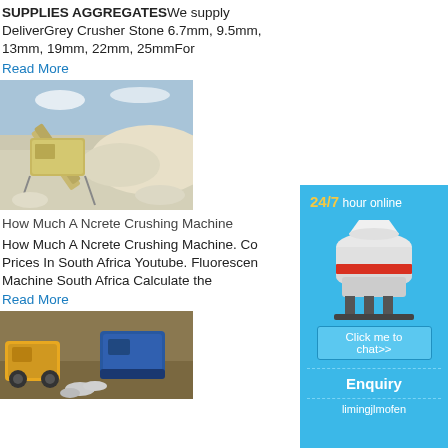SUPPLIES AGGREGATESWe supply DeliverGrey Crusher Stone 6.7mm, 9.5mm, 13mm, 19mm, 22mm, 25mmFor
Read More
[Figure (photo): Aggregate crushing plant with conveyor belts and machinery on a quarry site with stone piles in background]
How Much A Ncrete Crushing Machine
How Much A Ncrete Crushing Machine. Co Prices In South Africa Youtube. Fluorescen Machine South Africa Calculate the
Read More
[Figure (photo): Mobile crushing machines and aggregate stones shown in a quarry site]
[Figure (infographic): Sidebar banner: 24/7 hour online with cone crusher image, Click me to chat>> button, Enquiry section, limingjlmofen text]